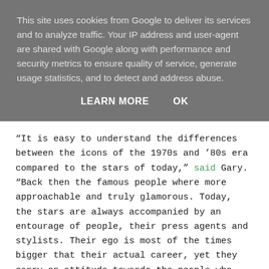This site uses cookies from Google to deliver its services and to analyze traffic. Your IP address and user-agent are shared with Google along with performance and security metrics to ensure quality of service, generate usage statistics, and to detect and address abuse.
LEARN MORE    OK
“It is easy to understand the differences between the icons of the 1970s and ‘80s era compared to the stars of today,” said Gary. “Back then the famous people where more approachable and truly glamorous. Today, the stars are always accompanied by an entourage of people, their press agents and stylists. Their ego is most of the times bigger that their actual career, yet they carry an attitude towards the people who want to approach them.”